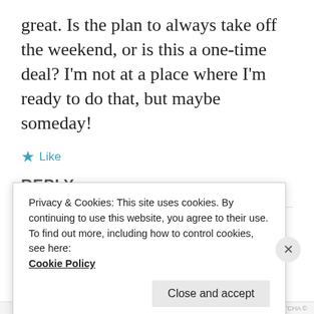great. Is the plan to always take off the weekend, or is this a one-time deal? I'm not at a place where I'm ready to do that, but maybe someday!
★ Like
REPLY
[Figure (other): User avatar circle with lavender background and stylized text 'WW+W' at the bottom]
Privacy & Cookies: This site uses cookies. By continuing to use this website, you agree to their use.
To find out more, including how to control cookies, see here:
Cookie Policy
Close and accept